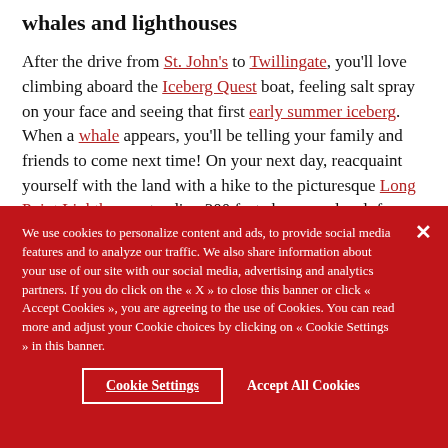whales and lighthouses
After the drive from St. John's to Twillingate, you'll love climbing aboard the Iceberg Quest boat, feeling salt spray on your face and seeing that first early summer iceberg. When a whale appears, you'll be telling your family and friends to come next time! On your next day, reacquaint yourself with the land with a hike to the picturesque Long Point Lighthouse standing 300 feet above sea level, for an
We use cookies to personalize content and ads, to provide social media features and to analyze our traffic. We also share information about your use of our site with our social media, advertising and analytics partners. If you do click on the « X » to close this banner or click « Accept Cookies », you are agreeing to the use of Cookies. You can read more and adjust your Cookie choices by clicking on « Cookie Settings » in this banner.
Cookie Settings   Accept All Cookies